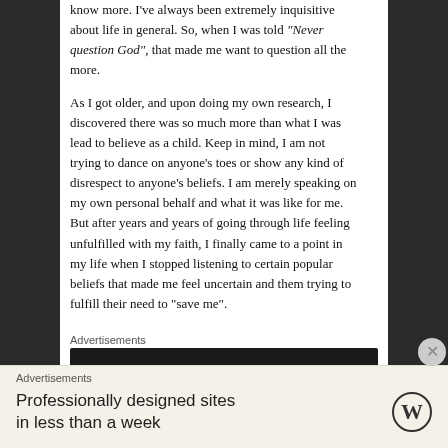know more. I've always been extremely inquisitive about life in general. So, when I was told "Never question God", that made me want to question all the more.
As I got older, and upon doing my own research, I discovered there was so much more than what I was lead to believe as a child. Keep in mind, I am not trying to dance on anyone's toes or show any kind of disrespect to anyone's beliefs. I am merely speaking on my own personal behalf and what it was like for me. But after years and years of going through life feeling unfulfilled with my faith, I finally came to a point in my life when I stopped listening to certain popular beliefs that made me feel uncertain and them trying to fulfill their need to “save me”.
Advertisements
Advertisements
Professionally designed sites in less than a week